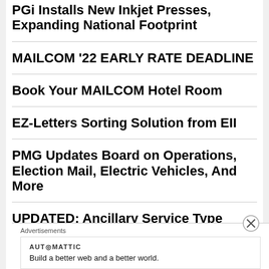PGi Installs New Inkjet Presses, Expanding National Footprint
MAILCOM '22 EARLY RATE DEADLINE
Book Your MAILCOM Hotel Room
EZ-Letters Sorting Solution from EII
PMG Updates Board on Operations, Election Mail, Electric Vehicles, And More
UPDATED: Ancillary Service Type
Advertisements
AUTOMATTIC
Build a better web and a better world.